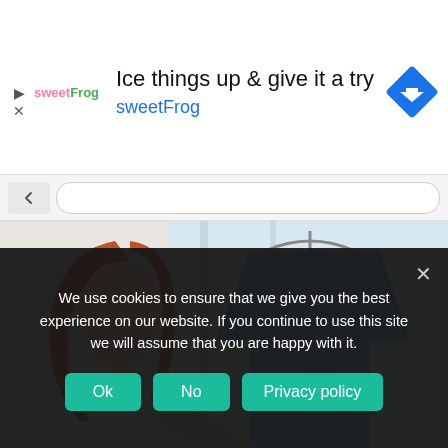[Figure (screenshot): SweetFrog advertisement banner with logo, text 'Ice things up & give it a try sweetFrog', and a blue navigation diamond icon]
[Figure (photo): Woman in white shirt using a handheld clothes steamer on a blue button-up shirt hanging on a hanger, light background]
We use cookies to ensure that we give you the best experience on our website. If you continue to use this site we will assume that you are happy with it.